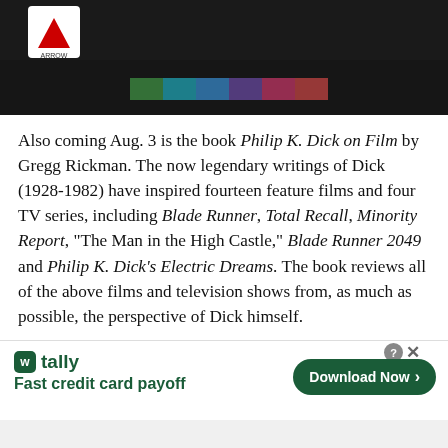[Figure (screenshot): Dark background image with Arrow Video logo in white box at top left and colored test bars (green, teal, blue, purple, pink, red) in the center-lower area]
Also coming Aug. 3 is the book Philip K. Dick on Film by Gregg Rickman. The now legendary writings of Dick (1928-1982) have inspired fourteen feature films and four TV series, including Blade Runner, Total Recall, Minority Report, “The Man in the High Castle,” Blade Runner 2049 and Philip K. Dick’s Electric Dreams. The book reviews all of the above films and television shows from, as much as possible, the perspective of Dick himself.
Stephanie Prange  /  July 26, 2018  /  News, Product News  /  Arrow Video, Blu-ray, Blu-ray Disc, Dario Argento, MVD, MVD Entertainment Group, Philip K. Dick
[Figure (screenshot): Tally app advertisement banner: tally logo with text 'Fast credit card payoff' and a green 'Download Now' button with arrow]